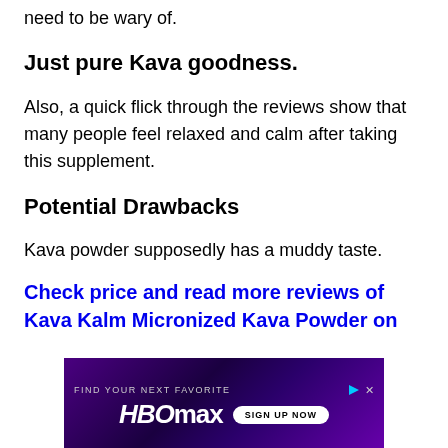need to be wary of.
Just pure Kava goodness.
Also, a quick flick through the reviews show that many people feel relaxed and calm after taking this supplement.
Potential Drawbacks
Kava powder supposedly has a muddy taste.
Check price and read more reviews of Kava Kalm Micronized Kava Powder on
[Figure (other): HBO Max advertisement banner: purple gradient background, 'FIND YOUR NEXT FAVORITE' text, HBO Max logo, 'SIGN UP NOW' button]